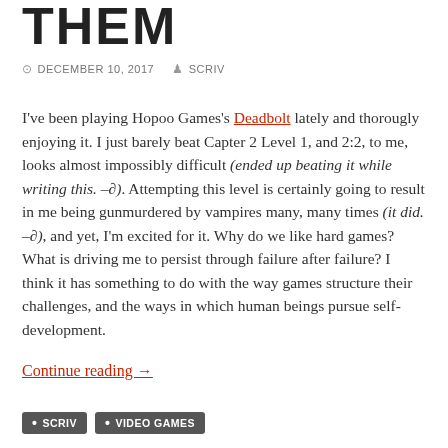THEM
DECEMBER 10, 2017  SCRIV
I've been playing Hopoo Games's Deadbolt lately and thorougly enjoying it. I just barely beat Capter 2 Level 1, and 2:2, to me, looks almost impossibly difficult (ended up beating it while writing this. –∂). Attempting this level is certainly going to result in me being gunmurdered by vampires many, many times (it did. –∂), and yet, I'm excited for it. Why do we like hard games? What is driving me to persist through failure after failure? I think it has something to do with the way games structure their challenges, and the ways in which human beings pursue self-development.
Continue reading →
• SCRIV  • VIDEO GAMES